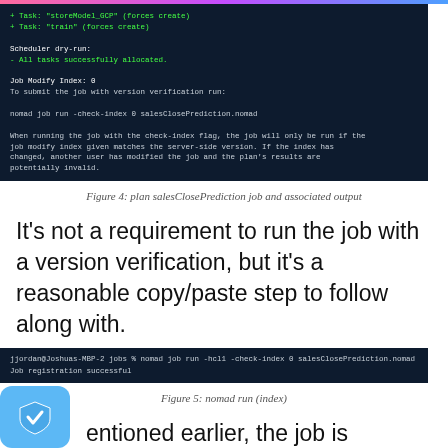[Figure (screenshot): Terminal output showing Nomad job plan results with tasks storeModel_GCP and train (forces create), scheduler dry-run showing all tasks successfully allocated, Job Modify Index 0, command to submit job with version verification, and explanation about check-index flag.]
Figure 4: plan salesClosePrediction job and associated output
It's not a requirement to run the job with a version verification, but it's a reasonable copy/paste step to follow along with.
[Figure (screenshot): Terminal showing: jjordan@Joshuas-MBP-2 jobs % nomad job run -hcl1 -check-index 0 salesClosePrediction.nomad
Job registration successful]
Figure 5: nomad run (index)
entioned earlier, the job is parameterized, so it